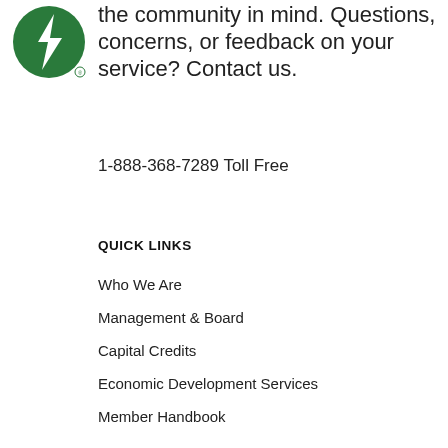[Figure (logo): Green circular logo with white lightning bolt / electric utility cooperative symbol]
the community in mind. Questions, concerns, or feedback on your service? Contact us.
1-888-368-7289 Toll Free
QUICK LINKS
Who We Are
Management & Board
Capital Credits
Economic Development Services
Member Handbook